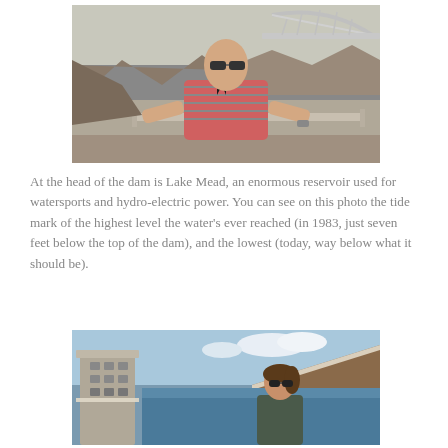[Figure (photo): A man in a striped polo shirt stands in front of Hoover Dam with the Mike O'Callaghan–Pat Tillman Memorial Bridge visible in the background over rocky canyon walls.]
At the head of the dam is Lake Mead, an enormous reservoir used for watersports and hydro-electric power. You can see on this photo the tide mark of the highest level the water's ever reached (in 1983, just seven feet below the top of the dam), and the lowest (today, way below what it should be).
[Figure (photo): A woman in sunglasses stands near Lake Mead with the intake towers of Hoover Dam visible to the left, showing a prominent white mineral deposit 'bathtub ring' on the canyon walls indicating low water levels, against a blue sky.]